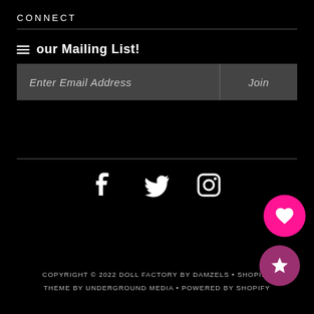CONNECT
Join our Mailing List!
Enter Email Address  Join
[Figure (infographic): Social media icons: Facebook, Twitter, Instagram in white on black background]
COPYRIGHT © 2022 DOLL FACTORY BY DAMZELS • SHOPIFY THEME BY UNDERGROUND MEDIA • POWERED BY SHOPIFY